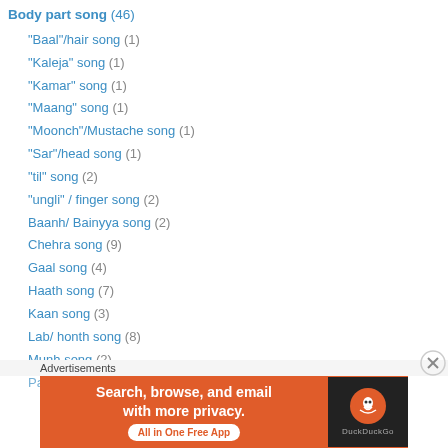Body part song (46)
"Baal"/hair song (1)
"Kaleja" song (1)
"Kamar" song (1)
"Maang" song (1)
"Moonch"/Mustache song (1)
"Sar"/head song (1)
"til" song (2)
"ungli" / finger song (2)
Baanh/ Bainyya song (2)
Chehra song (9)
Gaal song (4)
Haath song (7)
Kaan song (3)
Lab/ honth song (8)
Munh song (2)
Paaon/ Painvya song (2)
Advertisements
[Figure (screenshot): DuckDuckGo advertisement banner: orange background with text 'Search, browse, and email with more privacy. All in One Free App' and DuckDuckGo logo on dark background]